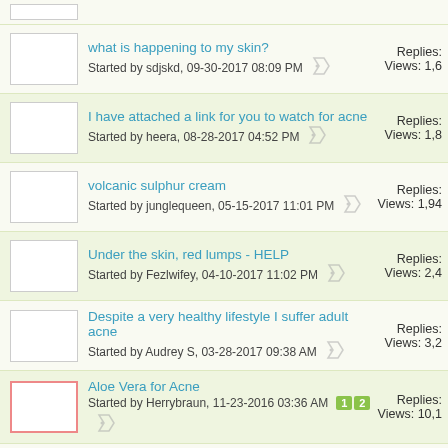what is happening to my skin? Started by sdjskd, 09-30-2017 08:09 PM | Replies: | Views: 1,6
I have attached a link for you to watch for acne Started by heera, 08-28-2017 04:52 PM | Replies: | Views: 1,8
volcanic sulphur cream Started by junglequeen, 05-15-2017 11:01 PM | Replies: | Views: 1,94
Under the skin, red lumps - HELP Started by Fezlwifey, 04-10-2017 11:02 PM | Replies: | Views: 2,4
Despite a very healthy lifestyle I suffer adult acne Started by Audrey S, 03-28-2017 09:38 AM | Replies: | Views: 3,2
Aloe Vera for Acne Started by Herrybraun, 11-23-2016 03:36 AM | Pages: 1 2 | Replies: | Views: 10,1
Marvelon for acne? Started by EJ603, 11-07-2016 08:24 PM | Replies: | Views: 2,6
Can tretinoin 0.1 kill me Started by Skinfreak, 11-07-2016 11:25 AM | Replies: | Views: 2,5